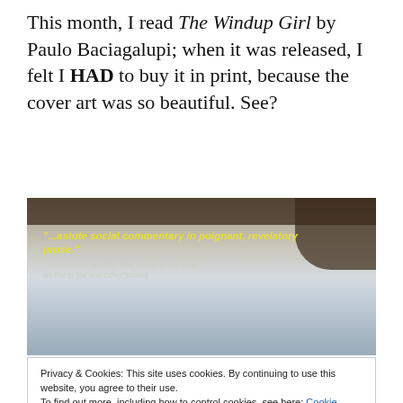This month, I read The Windup Girl by Paulo Baciagalupi; when it was released, I felt I HAD to buy it in print, because the cover art was so beautiful. See?
[Figure (photo): Book cover image for The Windup Girl showing a sky scene with trees. Contains a yellow italic quote: '"...astute social commentary in poignant, revelatory prose."' attributed to Publishers Weekly, Best Books of the Year on Pump Six and Other Stories.]
Privacy & Cookies: This site uses cookies. By continuing to use this website, you agree to their use.
To find out more, including how to control cookies, see here: Cookie Policy
[Figure (photo): Partial book cover image showing large letters 'G I' in dark tones against a light background.]